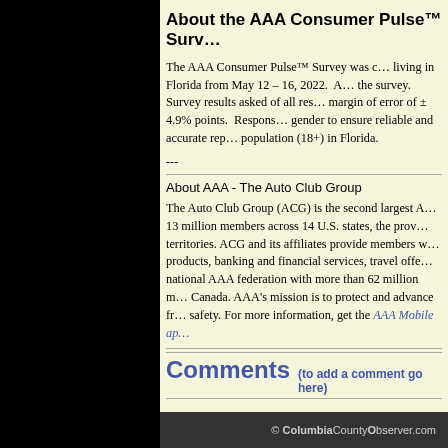About the AAA Consumer Pulse™ Survey
The AAA Consumer Pulse™ Survey was conducted among adults living in Florida from May 12 – 16, 2022. A total of 412 adults completed the survey. Survey results asked of all respondents have a margin of error of ± 4.9% points. Responses were weighted by age and gender to ensure reliable and accurate representation of the adult population (18+) in Florida.
---
About AAA - The Auto Club Group
The Auto Club Group (ACG) is the second largest AAA club in North America with 13 million members across 14 U.S. states, the province of Quebec and two U.S. territories. ACG and its affiliates provide members with travel, insurance, financial, retail products, banking and financial services, travel offerings and more. ACG belongs to the national AAA federation with more than 62 million members in the United States and Canada. AAA's mission is to protect and advance freedom of mobility and improve traffic safety. For more information, get the AAA Mobile app or visit AAA.com.
Comments (to add a comment go here)
• Fair Use  • Privacy  © ColumbiaCountyObserver.com